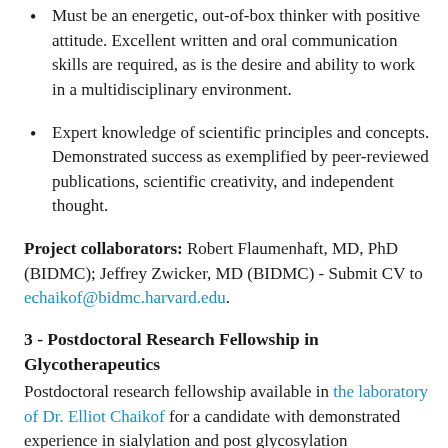Must be an energetic, out-of-box thinker with positive attitude. Excellent written and oral communication skills are required, as is the desire and ability to work in a multidisciplinary environment.
Expert knowledge of scientific principles and concepts. Demonstrated success as exemplified by peer-reviewed publications, scientific creativity, and independent thought.
Project collaborators: Robert Flaumenhaft, MD, PhD (BIDMC); Jeffrey Zwicker, MD (BIDMC) - Submit CV to echaikof@bidmc.harvard.edu.
3 - Postdoctoral Research Fellowship in Glycotherapeutics
Postdoctoral research fellowship available in the laboratory of Dr. Elliot Chaikof for a candidate with demonstrated experience in sialylation and post glycosylation modifications, synthesis of large glycans